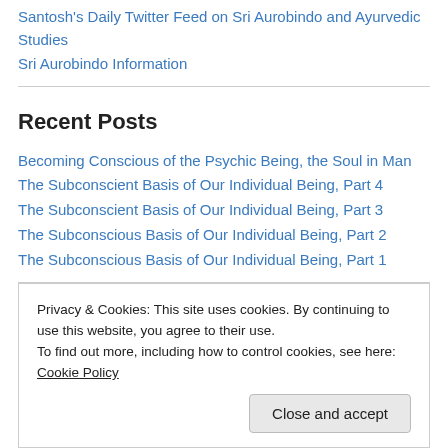Santosh's Daily Twitter Feed on Sri Aurobindo and Ayurvedic Studies
Sri Aurobindo Information
Recent Posts
Becoming Conscious of the Psychic Being, the Soul in Man
The Subconscient Basis of Our Individual Being, Part 4
The Subconscient Basis of Our Individual Being, Part 3
The Subconscious Basis of Our Individual Being, Part 2
The Subconscious Basis of Our Individual Being, Part 1
Categories
Privacy & Cookies: This site uses cookies. By continuing to use this website, you agree to their use. To find out more, including how to control cookies, see here: Cookie Policy
Mind of Light